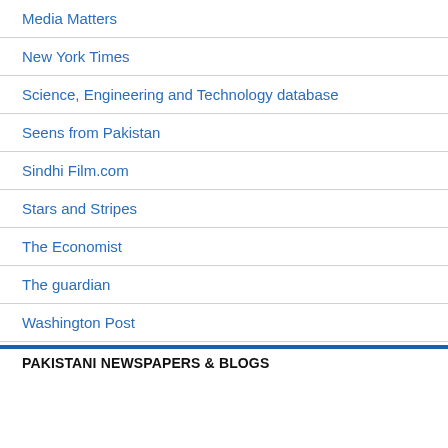Media Matters
New York Times
Science, Engineering and Technology database
Seens from Pakistan
Sindhi Film.com
Stars and Stripes
The Economist
The guardian
Washington Post
PAKISTANI NEWSPAPERS & BLOGS
Aalmi Akhbar